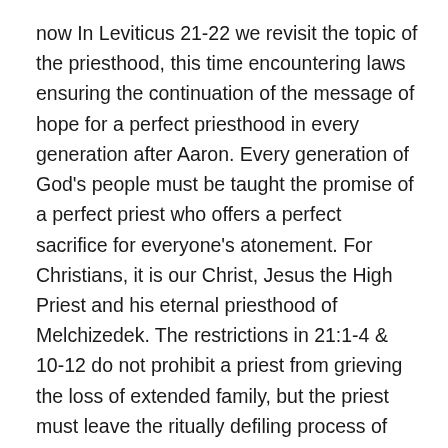now In Leviticus 21-22 we revisit the topic of the priesthood, this time encountering laws ensuring the continuation of the message of hope for a perfect priesthood in every generation after Aaron. Every generation of God's people must be taught the promise of a perfect priest who offers a perfect sacrifice for everyone's atonement. For Christians, it is our Christ, Jesus the High Priest and his eternal priesthood of Melchizedek. The restrictions in 21:1-4 & 10-12 do not prohibit a priest from grieving the loss of extended family, but the priest must leave the ritually defiling process of burial to others. These restrictions were put in place not to make things difficult for the priests but rather to uphold the portrait of a clean and joyful, life-ministering priesthood, see 2nd Sam. 19:1-8. The beautiful attire of the high priest in Ex. 28:1-43 & his movements in performing his